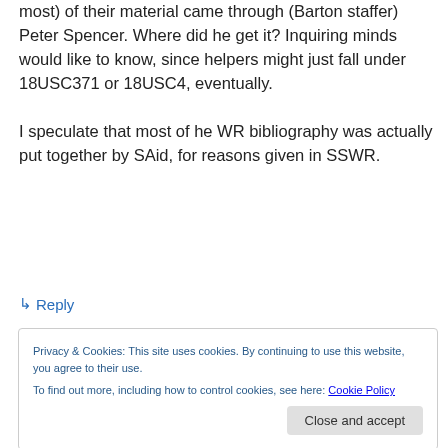most) of their material came through (Barton staffer) Peter Spencer. Where did he get it? Inquiring minds would like to know, since helpers might just fall under 18USC371 or 18USC4, eventually.
I speculate that most of he WR bibliography was actually put together by SAid, for reasons given in SSWR.
↳ Reply
Privacy & Cookies: This site uses cookies. By continuing to use this website, you agree to their use.
To find out more, including how to control cookies, see here: Cookie Policy